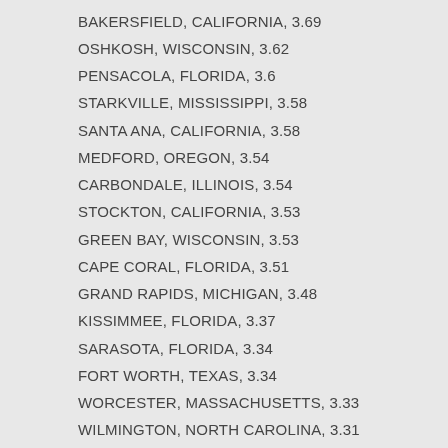BAKERSFIELD, CALIFORNIA, 3.69
OSHKOSH, WISCONSIN, 3.62
PENSACOLA, FLORIDA, 3.6
STARKVILLE, MISSISSIPPI, 3.58
SANTA ANA, CALIFORNIA, 3.58
MEDFORD, OREGON, 3.54
CARBONDALE, ILLINOIS, 3.54
STOCKTON, CALIFORNIA, 3.53
GREEN BAY, WISCONSIN, 3.53
CAPE CORAL, FLORIDA, 3.51
GRAND RAPIDS, MICHIGAN, 3.48
KISSIMMEE, FLORIDA, 3.37
SARASOTA, FLORIDA, 3.34
FORT WORTH, TEXAS, 3.34
WORCESTER, MASSACHUSETTS, 3.33
WILMINGTON, NORTH CAROLINA, 3.31
RAPID CITY, SOUTH DAKOTA, 3.28
ST CHARLES, MARYLAND, 3.22
JOLIET, ILLINOIS, 3.21
SANTA FE, NEW MEXICO, 3.2
LYNCHBURG, VIRGINIA, 3.19
HEMET, CALIFORNIA, 3.18